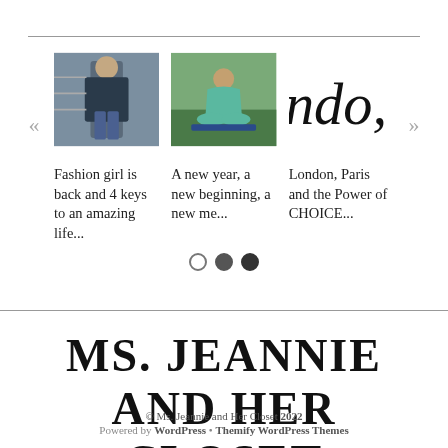[Figure (screenshot): Carousel of blog post thumbnails: fashion girl photo, yoga/meditation photo, and decorative script text 'ndo,' (London)]
Fashion girl is back and 4 keys to an amazing life...
A new year, a new beginning, a new me...
London, Paris and the Power of CHOICE...
MS. JEANNIE AND HER CLOSET
© Ms. Jeannie and Her Closet 2022
Powered by WordPress • Themify WordPress Themes